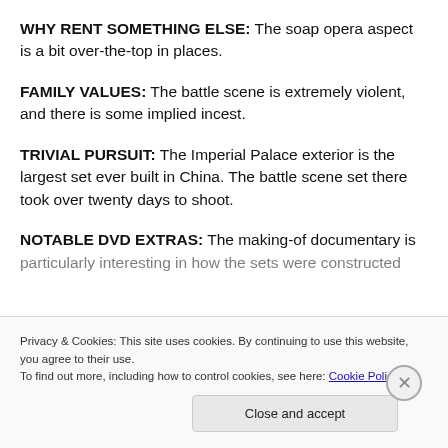WHY RENT SOMETHING ELSE: The soap opera aspect is a bit over-the-top in places.
FAMILY VALUES: The battle scene is extremely violent, and there is some implied incest.
TRIVIAL PURSUIT: The Imperial Palace exterior is the largest set ever built in China. The battle scene set there took over twenty days to shoot.
NOTABLE DVD EXTRAS: The making-of documentary is particularly interesting in how the sets were constructed
Privacy & Cookies: This site uses cookies. By continuing to use this website, you agree to their use.
To find out more, including how to control cookies, see here: Cookie Policy
Close and accept